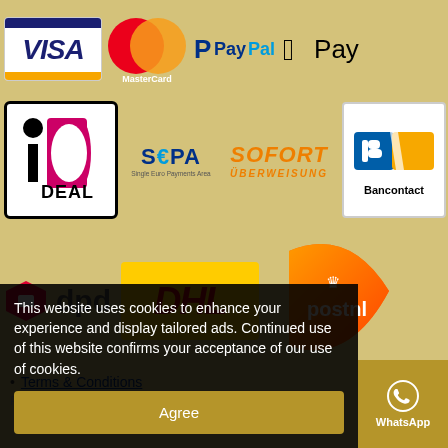[Figure (logo): Visa payment logo - white background with blue VISA text and gold bar]
[Figure (logo): MasterCard logo - overlapping red and orange circles with MasterCard text]
[Figure (logo): PayPal logo - blue P icon with PayPal text]
[Figure (logo): Apple Pay logo - apple icon with Pay text]
[Figure (logo): iDEAL payment logo - white box with black border, magenta D and circle i]
[Figure (logo): SEPA - Single Euro Payments Area logo in blue]
[Figure (logo): SOFORT Überweisung logo in orange italic]
[Figure (logo): Bancontact logo - blue and yellow card logo]
[Figure (logo): DPD parcel delivery logo - red box icon with dpd text]
[Figure (logo): DHL delivery logo - red DHL text on yellow background]
[Figure (logo): PostNL logo - orange teardrop shape with postnl text]
Terms & Conditions
Privacy Policy
This website uses cookies to enhance your experience and display tailored ads. Continued use of this website confirms your acceptance of our use of cookies.
Agree
WhatsApp